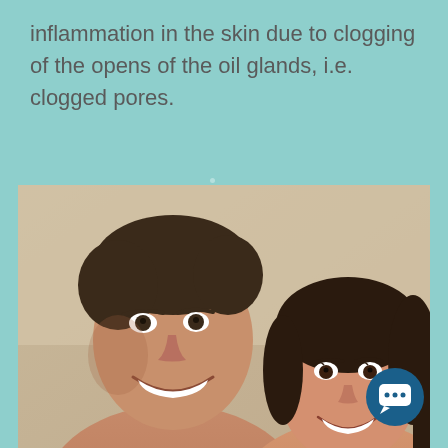inflammation in the skin due to clogging of the opens of the oil glands, i.e. clogged pores.
[Figure (photo): A smiling man and woman cheek to cheek, both with dark hair, photographed close up against a neutral background.]